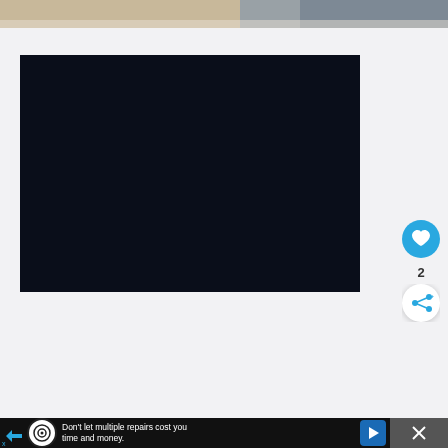[Figure (photo): Top portion of a food/drink photo visible at the top of the page, showing a light brown surface with darker rocky/gravelly texture on the right side]
[Figure (screenshot): A dark navy/black video player or embedded video area, nearly solid dark color (#0a0e1a)]
[Figure (other): Circular cyan/blue like button with heart icon, showing count of 2 below it, and a white circular share button with share icon]
2
[Figure (other): Advertisement bar at bottom: black background with circular logo, text 'Don't let multiple repairs cost you time and money.', blue navigation icon, and close button area on the right with X symbol]